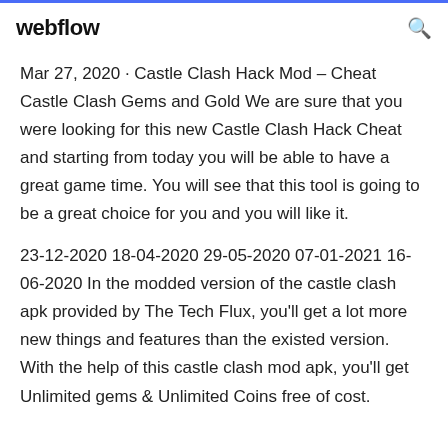webflow
Mar 27, 2020 · Castle Clash Hack Mod – Cheat Castle Clash Gems and Gold We are sure that you were looking for this new Castle Clash Hack Cheat and starting from today you will be able to have a great game time. You will see that this tool is going to be a great choice for you and you will like it.
23-12-2020 18-04-2020 29-05-2020 07-01-2021 16-06-2020 In the modded version of the castle clash apk provided by The Tech Flux, you'll get a lot more new things and features than the existed version. With the help of this castle clash mod apk, you'll get Unlimited gems & Unlimited Coins free of cost.